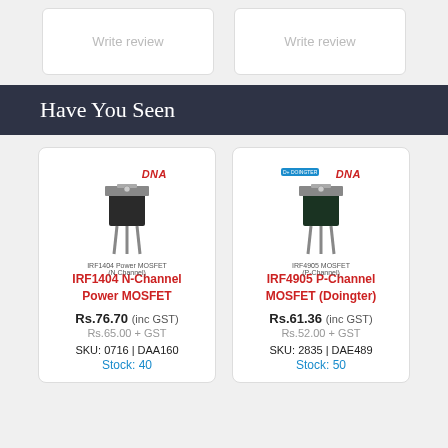Write review
Write review
Have You Seen
[Figure (photo): IRF1404 N-Channel Power MOSFET component photo with DNA logo]
IRF1404 N-Channel Power MOSFET
Rs.76.70 (inc GST)
Rs.65.00 + GST
SKU: 0716 | DAA160
Stock: 40
[Figure (photo): IRF4905 P-Channel MOSFET (Doingter) component photo with DNA and Doingter logos]
IRF4905 P-Channel MOSFET (Doingter)
Rs.61.36 (inc GST)
Rs.52.00 + GST
SKU: 2835 | DAE489
Stock: 50